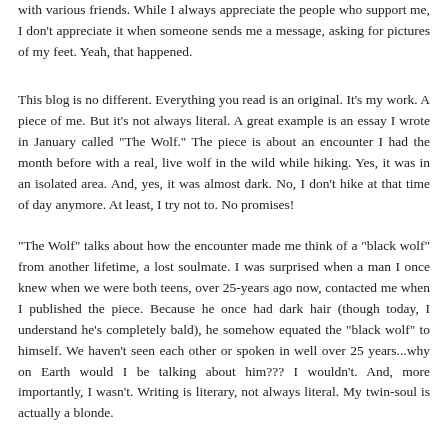with various friends. While I always appreciate the people who support me, I don't appreciate it when someone sends me a message, asking for pictures of my feet. Yeah, that happened.
This blog is no different. Everything you read is an original. It's my work. A piece of me. But it's not always literal. A great example is an essay I wrote in January called "The Wolf." The piece is about an encounter I had the month before with a real, live wolf in the wild while hiking. Yes, it was in an isolated area. And, yes, it was almost dark. No, I don't hike at that time of day anymore. At least, I try not to. No promises!
"The Wolf" talks about how the encounter made me think of a "black wolf" from another lifetime, a lost soulmate. I was surprised when a man I once knew when we were both teens, over 25-years ago now, contacted me when I published the piece. Because he once had dark hair (though today, I understand he's completely bald), he somehow equated the "black wolf" to himself. We haven't seen each other or spoken in well over 25 years...why on Earth would I be talking about him??? I wouldn't. And, more importantly, I wasn't. Writing is literary, not always literal. My twin-soul is actually a blonde.